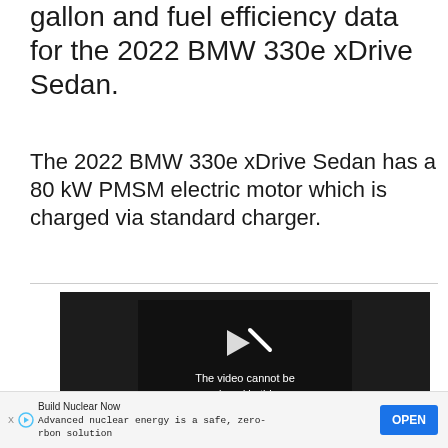gallon and fuel efficiency data for the 2022 BMW 330e xDrive Sedan.
The 2022 BMW 330e xDrive Sedan has a 80 kW PMSM electric motor which is charged via standard charger.
[Figure (screenshot): Video player showing error message: 'The video cannot be played in this browser. (Error Code: 242632)']
Build Nuclear Now
Advanced nuclear energy is a safe, zero-carbon solution
OPEN